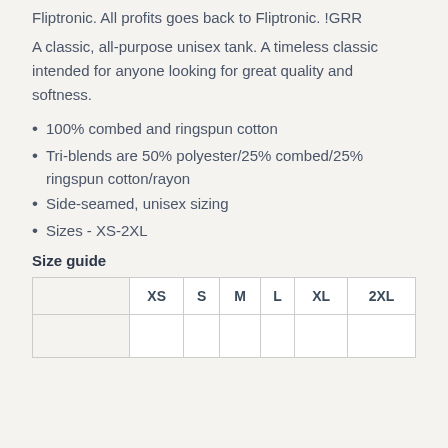Fliptronic. All profits goes back to Fliptronic. !GRR
A classic, all-purpose unisex tank. A timeless classic intended for anyone looking for great quality and softness.
100% combed and ringspun cotton
Tri-blends are 50% polyester/25% combed/25% ringspun cotton/rayon
Side-seamed, unisex sizing
Sizes - XS-2XL
Size guide
|  | XS | S | M | L | XL | 2XL |
| --- | --- | --- | --- | --- | --- | --- |
|  |